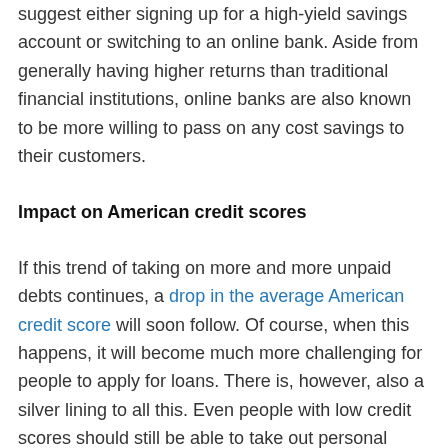suggest either signing up for a high-yield savings account or switching to an online bank. Aside from generally having higher returns than traditional financial institutions, online banks are also known to be more willing to pass on any cost savings to their customers.
Impact on American credit scores
If this trend of taking on more and more unpaid debts continues, a drop in the average American credit score will soon follow. Of course, when this happens, it will become much more challenging for people to apply for loans. There is, however, also a silver lining to all this. Even people with low credit scores should still be able to take out personal loans when necessary via peer-to-peer lending platforms. These alternative lending